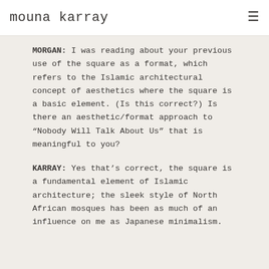mouna karray
MORGAN: I was reading about your previous use of the square as a format, which refers to the Islamic architectural concept of aesthetics where the square is a basic element. (Is this correct?) Is there an aesthetic/format approach to "Nobody Will Talk About Us" that is meaningful to you?
KARRAY: Yes that's correct, the square is a fundamental element of Islamic architecture; the sleek style of North African mosques has been as much of an influence on me as Japanese minimalism.